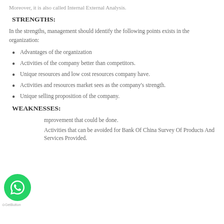Moreover, it is also called Internal External Analysis.
STRENGTHS:
In the strengths, management should identify the following points exists in the organization:
Advantages of the organization
Activities of the company better than competitors.
Unique resources and low cost resources company have.
Activities and resources market sees as the company's strength.
Unique selling proposition of the company.
WEAKNESSES:
Improvement that could be done.
Activities that can be avoided for Bank Of China Survey Of Products And Services Provided.